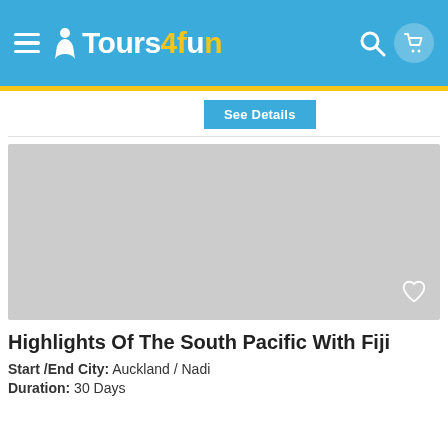Tours4fun
[Figure (other): Gray placeholder image for a tour listing card with a heart/favorite icon in the bottom right corner]
Highlights Of The South Pacific With Fiji
Start /End City:  Auckland / Nadi
Duration: 30 Days